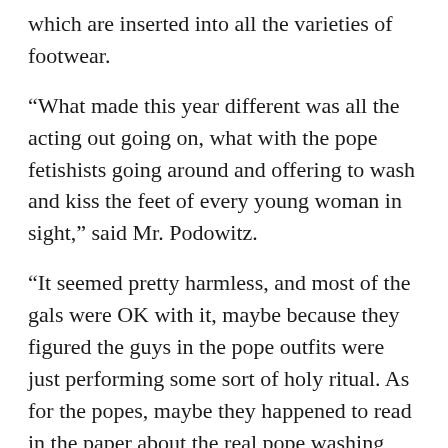which are inserted into all the varieties of footwear.
“What made this year different was all the acting out going on, what with the pope fetishists going around and offering to wash and kiss the feet of every young woman in sight,” said Mr. Podowitz.
“It seemed pretty harmless, and most of the gals were OK with it, maybe because they figured the guys in the pope outfits were just performing some sort of holy ritual. As for the popes, maybe they happened to read in the paper about the real pope washing and kissing the feet of young women, even young women with foot tattoos. Who knows, maybe they thought, ‘Hey, if the Pope can do it, so can I.’”